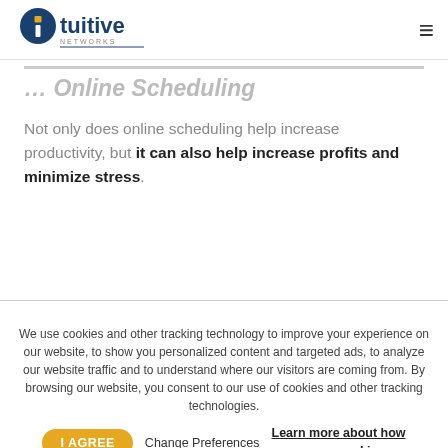Intuitive Networks
With Online Scheduling
Not only does online scheduling help increase productivity, but it can also help increase profits and minimize stress.
We use cookies and other tracking technology to improve your experience on our website, to show you personalized content and targeted ads, to analyze our website traffic and to understand where our visitors are coming from. By browsing our website, you consent to our use of cookies and other tracking technologies.
I AGREE   Change Preferences   Learn more about how we use cookies